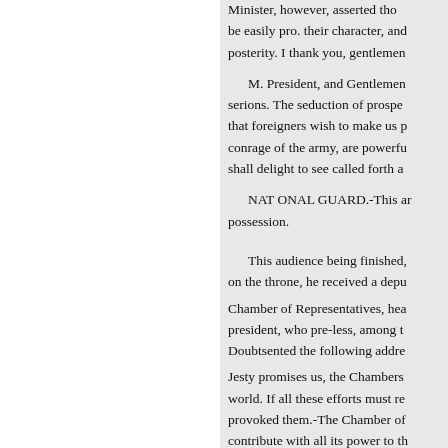Minister, however, asserted tho be easily pro. their character, and posterity. I thank you, gentlemen
M. President, and Gentlemen serions. The seduction of prospe that foreigners wish to make us p conrage of the army, are powerfu shall delight to see called forth a
NAT ONAL GUARD.-This ar possession.
This audience being finished, on the throne, he received a depu Chamber of Representatives, hea president, who pre-less, among t Doubtsented the following addre Jesty promises us, the Chambers world. If all these efforts must re provoked them.-The Chamber of contribute with all its power to th pronouncing its resolves only till opposing to the most unjust aggr hack in victor; only one more